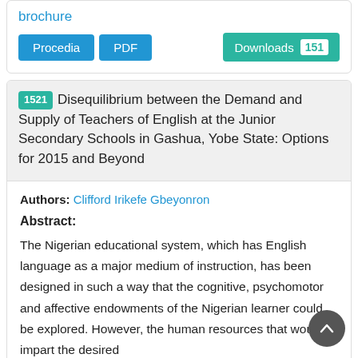brochure
Procedia | PDF | Downloads 151
1521 Disequilibrium between the Demand and Supply of Teachers of English at the Junior Secondary Schools in Gashua, Yobe State: Options for 2015 and Beyond
Authors: Clifford Irikefe Gbeyonron
Abstract:
The Nigerian educational system, which has English language as a major medium of instruction, has been designed in such a way that the cognitive, psychomotor and affective endowments of the Nigerian learner could be explored. However, the human resources that would impart the desired